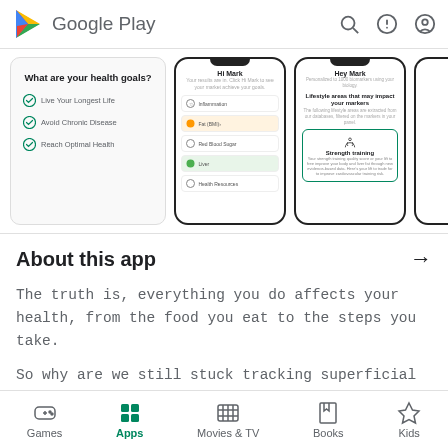[Figure (logo): Google Play logo with triangle icon and text]
[Figure (screenshot): App screenshots showing health goals and markers screens]
About this app →
The truth is, everything you do affects your health, from the food you eat to the steps you take.
So why are we still stuck tracking superficial and inaccurate markers of our health, like our weight and how we feel?
Games | Apps | Movies & TV | Books | Kids